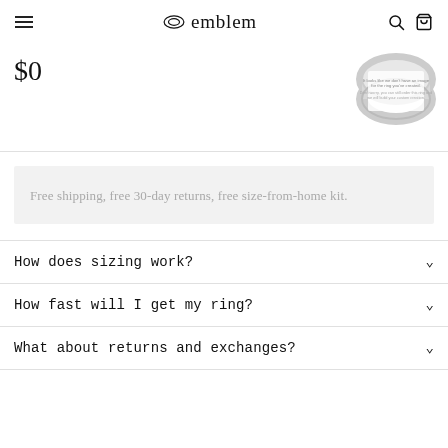emblem
$0
[Figure (photo): Ring product image placeholder with text: It looks like we don't have an image for the ring you've created. Don't worry, you can still order this ring and we will build your custom creation.]
Free shipping, free 30-day returns, free size-from-home kit.
How does sizing work?
How fast will I get my ring?
What about returns and exchanges?